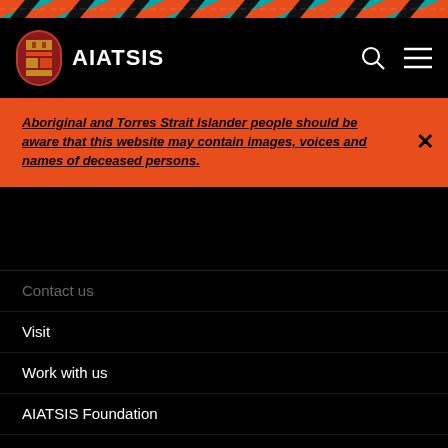[Figure (illustration): Top decorative banner with Aboriginal-style patterns in teal, orange, black and white zigzag/stripe motifs]
AIATSIS
Aboriginal and Torres Strait Islander people should be aware that this website may contain images, voices and names of deceased persons.
Contact us
Visit
Work with us
AIATSIS Foundation
Core cultural learning
Return of Cultural Heritage
Frequently Asked Questions